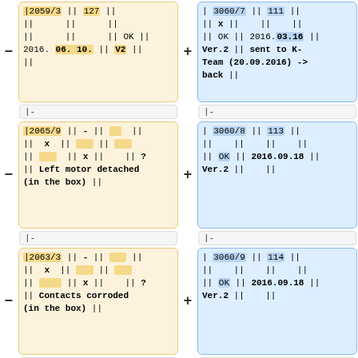|2059/3 || 127 || || || || || || OK || 2016. 06. 10. || V2 || ||
| 3060/7 || 111 || || x || || || || OK || 2016.03.16 || Ver.2 || sent to K-Team (20.09.2016) -> back ||
|-
|-
|2065/9 || - || || || x || || || || x || || ? || Left motor detached (in the box) ||
| 3060/8 || 113 || || || || || || OK || 2016.09.18 || Ver.2 || ||
|-
|-
|2063/3 || - || || || x || || || || x || || ? || Contacts corroded (in the box) ||
| 3060/9 || 114 || || || || || || OK || 2016.09.18 || Ver.2 || ||